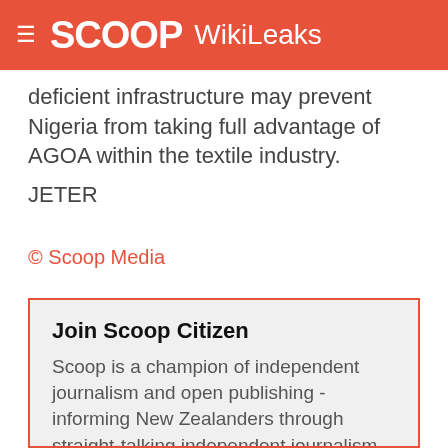SCOOP WikiLeaks
deficient infrastructure may prevent Nigeria from taking full advantage of AGOA within the textile industry.
JETER
© Scoop Media
Join Scoop Citizen
Scoop is a champion of independent journalism and open publishing - informing New Zealanders through straight-talking independent journalism, and publishing news from a wide range of sectors. Join us and support the publication of trustworthy, relevant, public interest news, freely